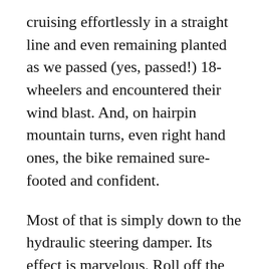cruising effortlessly in a straight line and even remaining planted as we passed (yes, passed!) 18-wheelers and encountered their wind blast. And, on hairpin mountain turns, even right hand ones, the bike remained sure-footed and confident.
Most of that is simply down to the hydraulic steering damper. Its effect is marvelous. Roll off the throttle on a straight road and, if you're really paying attention, you can detect a slight yaw, but the damper totally prevents the initialization of anything approaching a